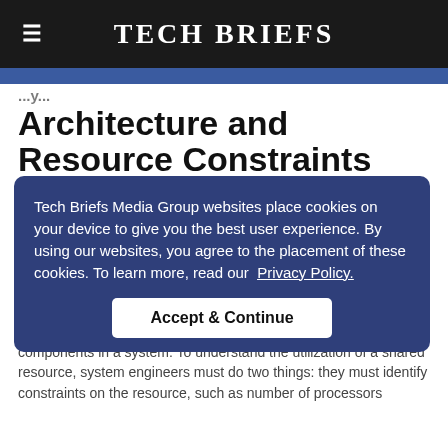Tech Briefs
Architecture and Resource Constraints Using Discrete-Event Simulation
Tech Briefs Media Group websites place cookies on your device to give you the best user experience. By using our websites, you agree to the placement of these cookies. To learn more, read our Privacy Policy.
Accept & Continue
Optimizing system resource utilization is a key design objective for system designers in communications, aerospace, and other industries. System resources such as processors, memory or bandwidth on a communication bus are often shared by various components in a system. To understand the utilization of a shared resource, system engineers must do two things: they must identify constraints on the resource, such as number of processors